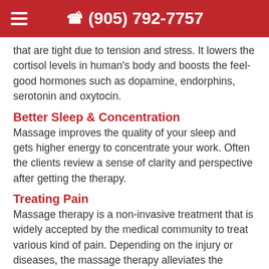(905) 792-7757
that are tight due to tension and stress. It lowers the cortisol levels in human’s body and boosts the feel-good hormones such as dopamine, endorphins, serotonin and oxytocin.
Better Sleep & Concentration
Massage improves the quality of your sleep and gets higher energy to concentrate your work. Often the clients review a sense of clarity and perspective after getting the therapy.
Treating Pain
Massage therapy is a non-invasive treatment that is widely accepted by the medical community to treat various kind of pain. Depending on the injury or diseases, the massage therapy alleviates the discomfort by enhancing the blood circulation. It is a great way to decrease the tension in the